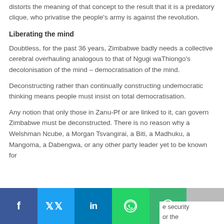distorts the meaning of that concept to the result that it is a predatory clique, who privatise the people's army is against the revolution.
Liberating the mind
Doubtless, for the past 36 years, Zimbabwe badly needs a collective cerebral overhauling analogous to that of Ngugi waThiongo's decolonisation of the mind – democratisation of the mind.
Deconstructing rather than continually constructing undemocratic thinking means people must insist on total democratisation.
Any notion that only those in Zanu-Pf or are linked to it, can govern Zimbabwe must be deconstructed. There is no reason why a Welshman Ncube, a Morgan Tsvangirai, a Biti, a Madhuku, a Mangoma, a Dabengwa, or any other party leader yet to be known for
[Figure (infographic): Social media share bar at the bottom with Facebook, Twitter, LinkedIn, WhatsApp, SMS, and plus buttons]
e security or the